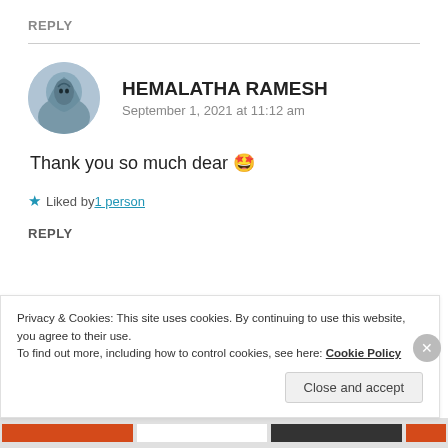REPLY
HEMALATHA RAMESH
September 1, 2021 at 11:12 am
Thank you so much dear 🤩
★ Liked by 1 person
REPLY
Privacy & Cookies: This site uses cookies. By continuing to use this website, you agree to their use.
To find out more, including how to control cookies, see here: Cookie Policy
Close and accept